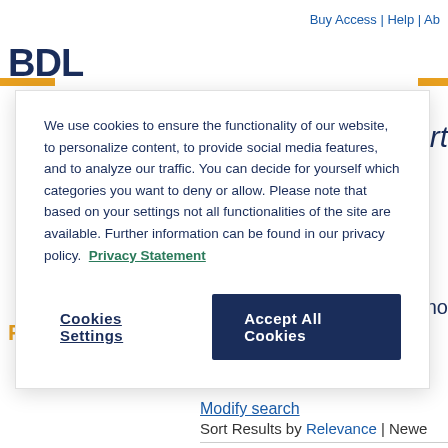Buy Access | Help | Ab
We use cookies to ensure the functionality of our website, to personalize content, to provide social media features, and to analyze our traffic. You can decide for yourself which categories you want to deny or allow. Please note that based on your settings not all functionalities of the site are available. Further information can be found in our privacy policy. Privacy Statement
Cookies Settings
Accept All Cookies
Present 12
Search
Your search for
Modify search
Sort Results by Relevance | Newe